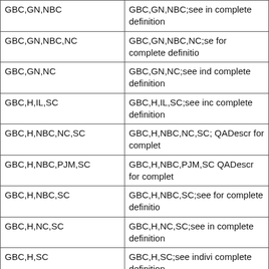|  |  |
| --- | --- |
| GBC,GN,NBC | GBC,GN,NBC;see in complete definition |
| GBC,GN,NBC,NC | GBC,GN,NBC,NC;se for complete definitio |
| GBC,GN,NC | GBC,GN,NC;see ind complete definition |
| GBC,H,IL,SC | GBC,H,IL,SC;see inc complete definition |
| GBC,H,NBC,NC,SC | GBC,H,NBC,NC,SC; QADescr for complet |
| GBC,H,NBC,PJM,SC | GBC,H,NBC,PJM,SC QADescr for complet |
| GBC,H,NBC,SC | GBC,H,NBC,SC;see for complete definitio |
| GBC,H,NC,SC | GBC,H,NC,SC;see in complete definition |
| GBC,H,SC | GBC,H,SC;see indivi complete definition |
| GBC,H,SC,VDO,VIL,VIP,VNBC | GBC,H,SC,VDO,VIL, individual QADescr f |
| GBC,H,SC,VIP | GBC,H,SC,VIP;see i for complete definitio |